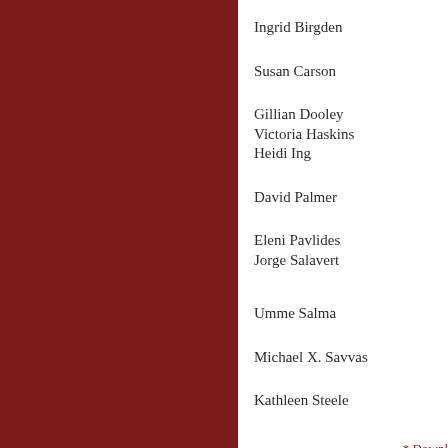[Figure (other): Dark maroon/red rectangular panel on the left side of the page]
Ingrid Birgden
Susan Carson
Gillian Dooley
Victoria Haskins
Heidi Ing
David Palmer
Eleni Pavlides
Jorge Salavert
Umme Salma
Michael X. Savvas
Kathleen Steele
* Downl
Contribut